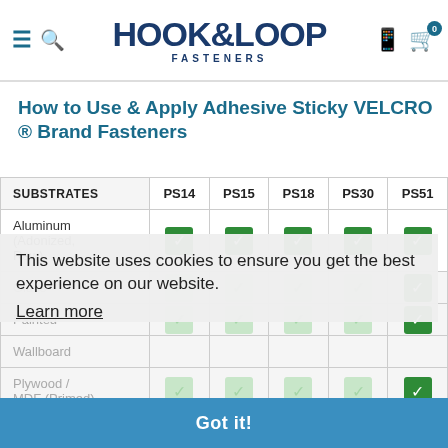HOOK&LOOP FASTENERS
How to Use & Apply Adhesive Sticky VELCRO ® Brand Fasteners
| SUBSTRATES | PS14 | PS15 | PS18 | PS30 | PS51 |
| --- | --- | --- | --- | --- | --- |
| Aluminum (Adonized, Raw) | ✓ | ✓ | ✓ | ✓ | ✓ |
| Glass | ✓(light) | ✓(light) | ✓(light) | ✓(light) | ✓ |
| Painted | ✓(light) | ✓(light) | ✓(light) | ✓(light) | ✓ |
| Wallboard |  |  |  |  |  |
| Plywood / MDF (Primed) | ✓(light) | ✓(light) | ✓(light) | ✓(light) | ✓ |
| Polyester | ✓(light) | ✓(light) | ✓(light) | ✓(light) | ✓ |
| (partial last row) | orange | green | red |  |  |
This website uses cookies to ensure you get the best experience on our website.
Learn more
Got it!